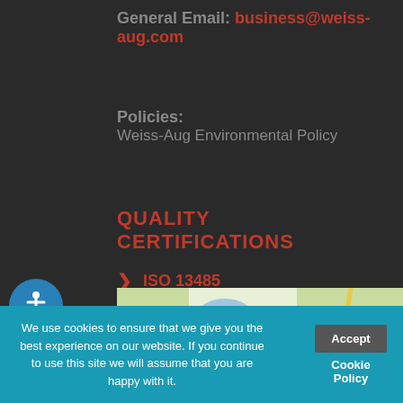General Email: business@weiss-aug.com
Policies: Weiss-Aug Environmental Policy
QUALITY CERTIFICATIONS
ISO 13485
[Figure (map): Google map showing Lincoln Park, Wayne, NJ area with route 202 and Whole Foods Market visible]
We use cookies to ensure that we give you the best experience on our website. If you continue to use this site we will assume that you are happy with it.
Accept
Cookie Policy